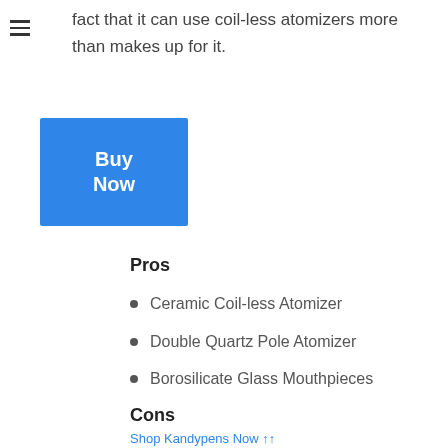fact that it can use coil-less atomizers more than makes up for it.
Buy Now
Pros
Ceramic Coil-less Atomizer
Double Quartz Pole Atomizer
Borosilicate Glass Mouthpieces
Cons
320mAh Sub-Ohm Battery
4 Preset Temperatures
Shop Kandypens Now ↑↑